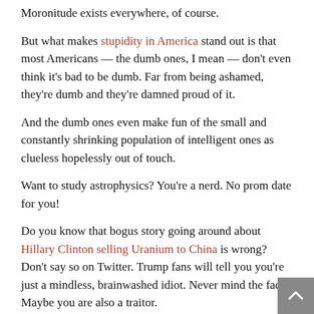Moronitude exists everywhere, of course.
But what makes stupidity in America stand out is that most Americans — the dumb ones, I mean — don't even think it's bad to be dumb. Far from being ashamed, they're dumb and they're damned proud of it.
And the dumb ones even make fun of the small and constantly shrinking population of intelligent ones as clueless hopelessly out of touch.
Want to study astrophysics? You're a nerd. No prom date for you!
Do you know that bogus story going around about Hillary Clinton selling Uranium to China is wrong? Don't say so on Twitter. Trump fans will tell you you're just a mindless, brainwashed idiot. Never mind the facts. Maybe you are also a traitor.
For the new wave of stupid Americans, facts aren't worth more than opinions they come up with or the fake stories they find on the many bogus news sites that target them.